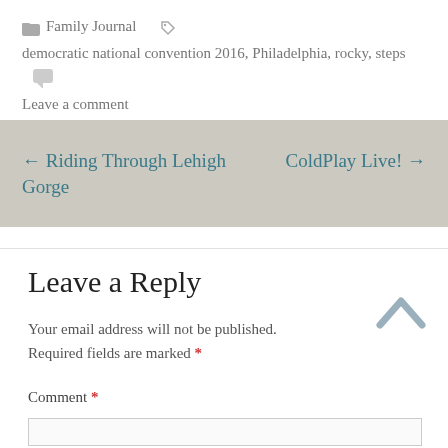Family Journal   democratic national convention 2016, Philadelphia, rocky, steps   Leave a comment
← Riding Through Lehigh Gorge
ColdPlay Live! →
Leave a Reply
Your email address will not be published. Required fields are marked *
Comment *